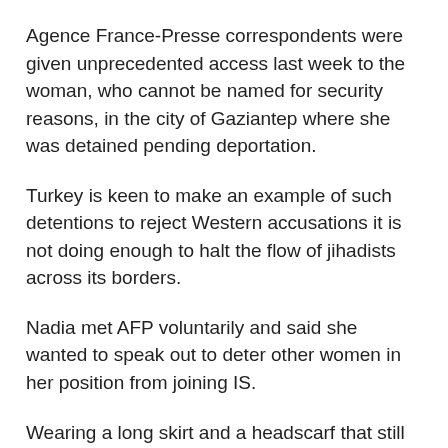Agence France-Presse correspondents were given unprecedented access last week to the woman, who cannot be named for security reasons, in the city of Gaziantep where she was detained pending deportation.
Turkey is keen to make an example of such detentions to reject Western accusations it is not doing enough to halt the flow of jihadists across its borders.
Nadia met AFP voluntarily and said she wanted to speak out to deter other women in her position from joining IS.
Wearing a long skirt and a headscarf that still exposed the locks of her brown hair, she spoke confidently and cogently, even as questions remain about parts of her testimony.